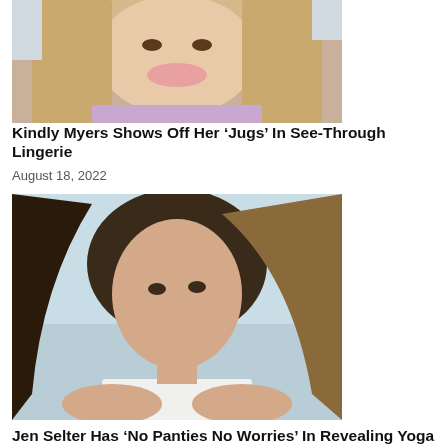[Figure (photo): Close-up selfie photo of a blonde woman smiling, wearing a light purple/lavender top]
Kindly Myers Shows Off Her ‘Jugs’ In See-Through Lingerie
August 18, 2022
[Figure (photo): Portrait photo of a brunette/blonde woman with long hair, wearing a white top, against a light blue background]
Jen Selter Has ‘No Panties No Worries’ In Revealing Yoga Pa...